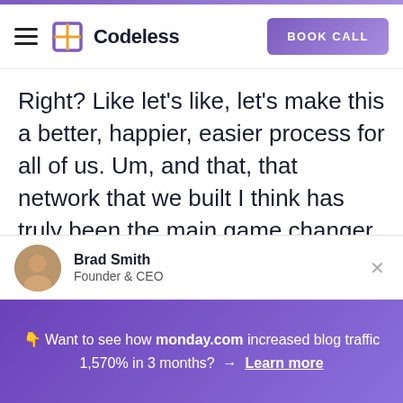Codeless | BOOK CALL
Right? Like let’s like, let’s make this a better, happier, easier process for all of us. Um, and that, that network that we built I think has truly been the main game changer mostly because all that does is when you email somebody, they open it and that’s the first thing that you need to happen in order to get content
Brad Smith
Founder & CEO
👇 Want to see how monday.com increased blog traffic 1,570% in 3 months?  →  Learn more